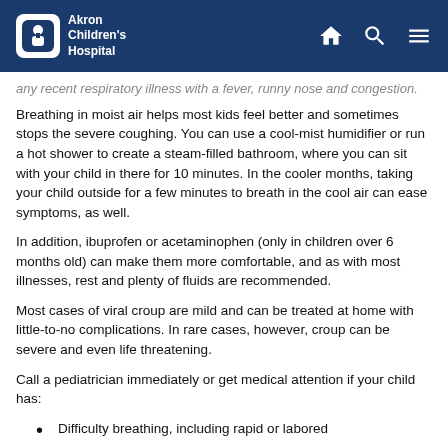Akron Children's Hospital
any recent respiratory illness with a fever, runny nose and congestion.
Breathing in moist air helps most kids feel better and sometimes stops the severe coughing. You can use a cool-mist humidifier or run a hot shower to create a steam-filled bathroom, where you can sit with your child in there for 10 minutes. In the cooler months, taking your child outside for a few minutes to breath in the cool air can ease symptoms, as well.
In addition, ibuprofen or acetaminophen (only in children over 6 months old) can make them more comfortable, and as with most illnesses, rest and plenty of fluids are recommended.
Most cases of viral croup are mild and can be treated at home with little-to-no complications. In rare cases, however, croup can be severe and even life threatening.
Call a pediatrician immediately or get medical attention if your child has:
Difficulty breathing, including rapid or labored